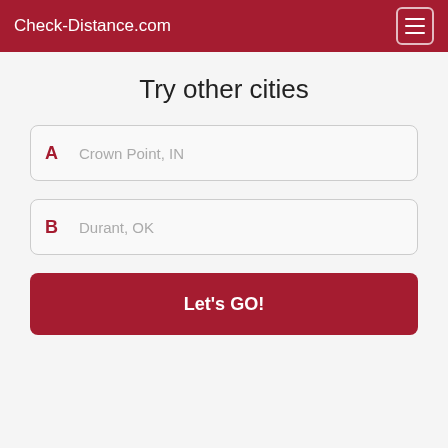Check-Distance.com
Try other cities
A  Crown Point, IN
B  Durant, OK
Let's GO!